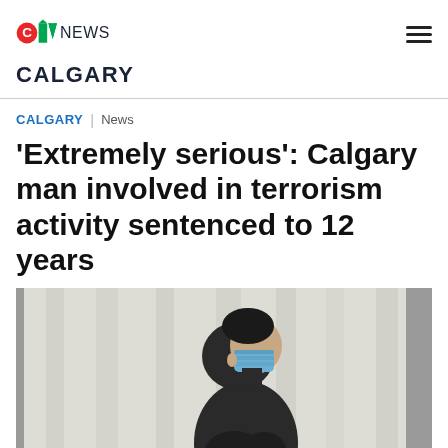CTV News Calgary
CALGARY
CALGARY | News
'Extremely serious': Calgary man involved in terrorism activity sentenced to 12 years
[Figure (illustration): Courtroom sketch of a man wearing a black hoodie and blue surgical mask, standing against a light-colored background, viewed from the side.]